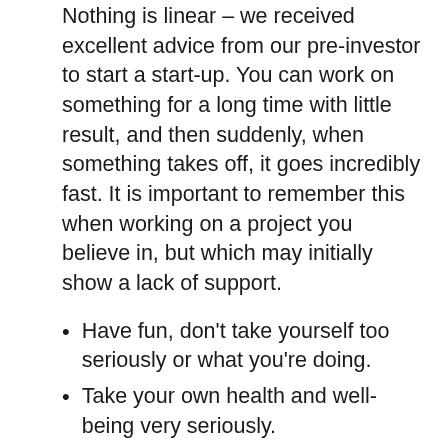Nothing is linear – we received excellent advice from our pre-investor to start a start-up. You can work on something for a long time with little result, and then suddenly, when something takes off, it goes incredibly fast. It is important to remember this when working on a project you believe in, but which may initially show a lack of support.
Have fun, don't take yourself too seriously or what you're doing.
Take your own health and well-being very seriously.
Maintain integrity – it can be about the music or culture you love, or what you do in your career.
Read on to find out more about Fredrik Hag and his career path.